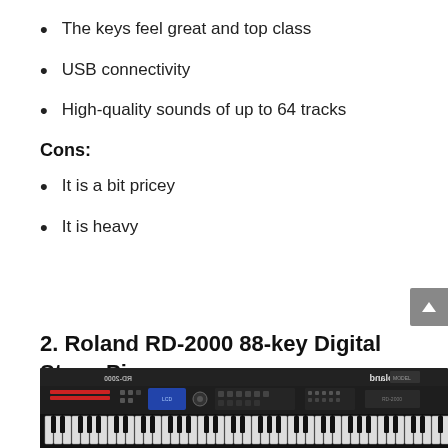The keys feel great and top class
USB connectivity
High-quality sounds of up to 64 tracks
Cons:
It is a bit pricey
It is heavy
2. Roland RD-2000 88-key Digital Stage Piano
[Figure (photo): Photo of Roland RD-2000 digital stage piano, black keyboard instrument viewed from above showing controls, LCD screen, and keys]